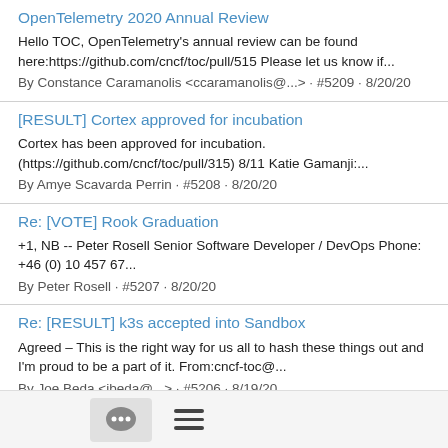OpenTelemetry 2020 Annual Review
Hello TOC, OpenTelemetry's annual review can be found here:https://github.com/cncf/toc/pull/515 Please let us know if...
By Constance Caramanolis <ccaramanolis@...> · #5209 · 8/20/20
[RESULT] Cortex approved for incubation
Cortex has been approved for incubation. (https://github.com/cncf/toc/pull/315) 8/11 Katie Gamanji:...
By Amye Scavarda Perrin · #5208 · 8/20/20
Re: [VOTE] Rook Graduation
+1, NB -- Peter Rosell Senior Software Developer / DevOps Phone: +46 (0) 10 457 67...
By Peter Rosell · #5207 · 8/20/20
Re: [RESULT] k3s accepted into Sandbox
Agreed – This is the right way for us all to hash these things out and I'm proud to be a part of it. From:cncf-toc@...
By Joe Beda <jbeda@...> · #5206 · 8/19/20
[Figure (other): Bottom navigation bar with a chat bubble icon and a hamburger menu icon]